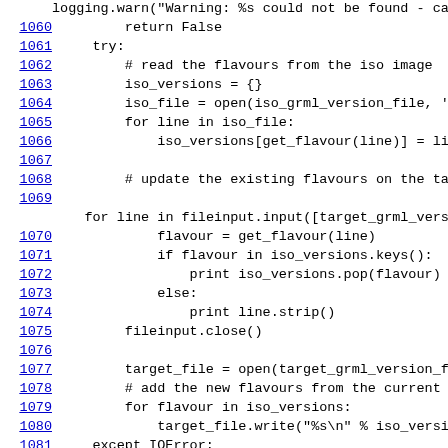code listing lines 1059-1082
1059: logging.warn("Warning: %s could not be found - can not inst
1060:     return False
1061:     try:
1062:         # read the flavours from the iso image
1063:         iso_versions = {}
1064:         iso_file = open(iso_grml_version_file, 'r')
1065:         for line in iso_file:
1066:             iso_versions[get_flavour(line)] = line.strip()
1067: (blank)
1068:         # update the existing flavours on the target
1069: (blank)
for line in fileinput.input([target_grml_version_file], inplace=
1070:             flavour = get_flavour(line)
1071:             if flavour in iso_versions.keys():
1072:                 print iso_versions.pop(flavour)
1073:             else:
1074:                 print line.strip()
1075:         fileinput.close()
1076: (blank)
1077:         target_file = open(target_grml_version_file, 'a')
1078:         # add the new flavours from the current iso
1079:         for flavour in iso_versions:
1080:             target_file.write("%s\n" % iso_versions[flavour])
1081:     except IOError:
1082:         logging.warn("Warning: Could not write file")